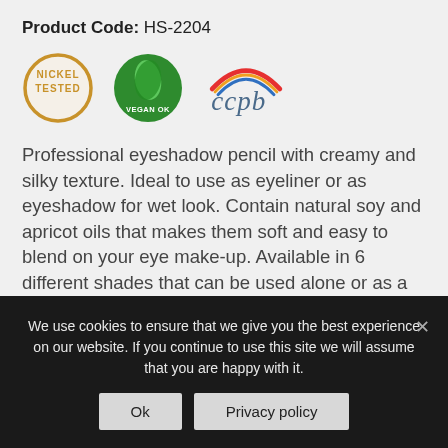Product Code: HS-2204
[Figure (logo): Three certification badges: Nickel Tested (circular gold border badge), Vegan OK (green circular leaf logo), and CCPB (colorful organic certification logo)]
Professional eyeshadow pencil with creamy and silky texture. Ideal to use as eyeliner or as eyeshadow for wet look. Contain natural soy and apricot oils that makes them soft and easy to blend on your eye make-up. Available in 6 different shades that can be used alone or as a primer for powder eyeshadows for more intense and vibrant look.
We use cookies to ensure that we give you the best experience on our website. If you continue to use this site we will assume that you are happy with it.